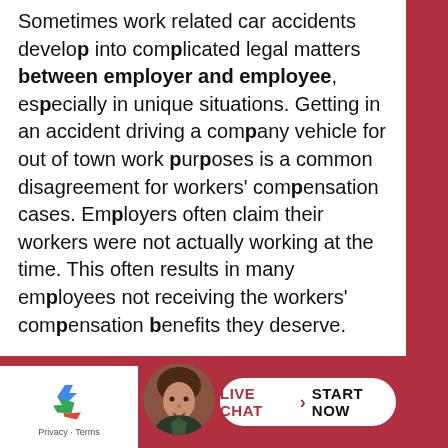Sometimes work related car accidents develop into complicated legal matters between employer and employee, especially in unique situations. Getting in an accident driving a company vehicle for out of town work purposes is a common disagreement for workers' compensation cases. Employers often claim their workers were not actually working at the time. This often results in many employees not receiving the workers' compensation benefits they deserve.
[Figure (other): reCAPTCHA widget with recycling-arrow icon and Privacy - Terms text]
[Figure (photo): Circular avatar photo of a man with light brown hair]
[Figure (other): Live Chat - Start Now button with red chevron separator on white rounded rectangle background]